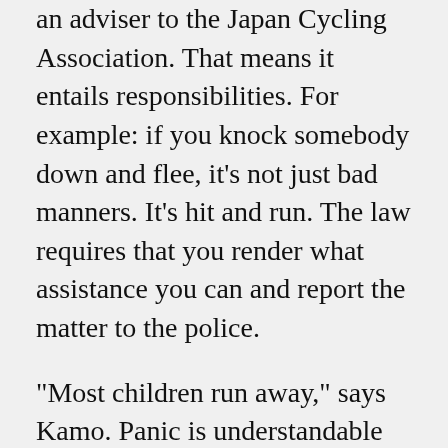an adviser to the Japan Cycling Association. That means it entails responsibilities. For example: if you knock somebody down and flee, it’s not just bad manners. It’s hit and run. The law requires that you render what assistance you can and report the matter to the police.
“Most children run away,” says Kamo. Panic is understandable but is no excuse.
“Make sure your children understand: No riding under an umbrella; no riding while playing with a cell phone,” Kamo counsels. “No double-riding. No headphones. Teach them the basic rules of the road” – or risk facing dire consequences, as a mother in Kobe learned to her cost.
One final word to the wise from Kamo. Sometimes the most diligent training, the most thorough